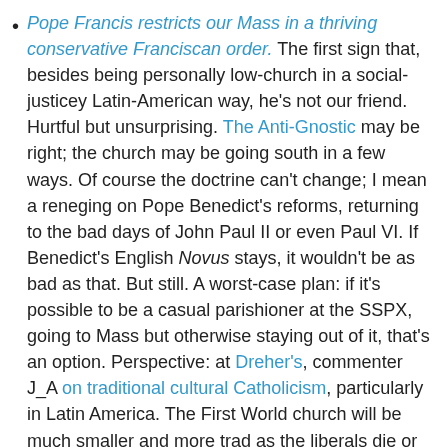Pope Francis restricts our Mass in a thriving conservative Franciscan order. The first sign that, besides being personally low-church in a social-justicey Latin-American way, he's not our friend. Hurtful but unsurprising. The Anti-Gnostic may be right; the church may be going south in a few ways. Of course the doctrine can't change; I mean a reneging on Pope Benedict's reforms, returning to the bad days of John Paul II or even Paul VI. If Benedict's English Novus stays, it wouldn't be as bad as that. But still. A worst-case plan: if it's possible to be a casual parishioner at the SSPX, going to Mass but otherwise staying out of it, that's an option. Perspective: at Dreher's, commenter J_A on traditional cultural Catholicism, particularly in Latin America. The First World church will be much smaller and more trad as the liberals die or drop out, but a Third World-run church might be doctrinally sound but low-church. We can hope that instead it revives a